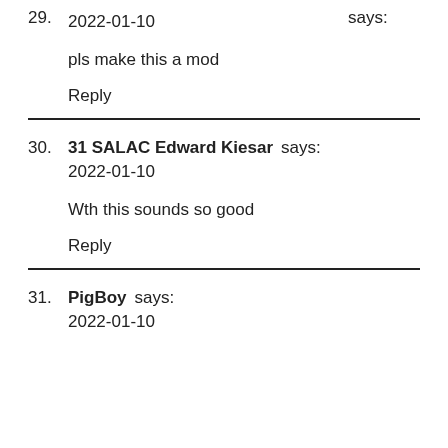29. says:
2022-01-10

pls make this a mod

Reply
30. 31 SALAC Edward Kiesar says:
2022-01-10

Wth this sounds so good

Reply
31. PigBoy says:
2022-01-10